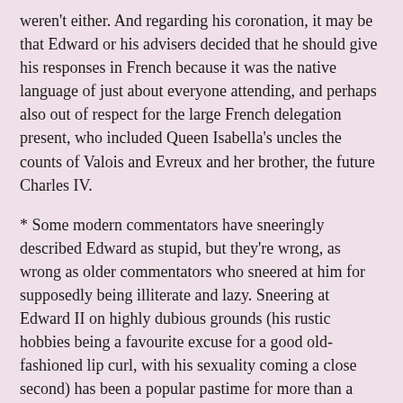weren't either. And regarding his coronation, it may be that Edward or his advisers decided that he should give his responses in French because it was the native language of just about everyone attending, and perhaps also out of respect for the large French delegation present, who included Queen Isabella's uncles the counts of Valois and Evreux and her brother, the future Charles IV.
* Some modern commentators have sneeringly described Edward as stupid, but they're wrong, as wrong as older commentators who sneered at him for supposedly being illiterate and lazy. Sneering at Edward II on highly dubious grounds (his rustic hobbies being a favourite excuse for a good old-fashioned lip curl, with his sexuality coming a close second) has been a popular pastime for more than a century, but that's no reason why we should take any notice of these people.
As for the 1317 translation by the archbishop of Canterbury, papal bulls, letters and so on were often written in a Latin difficult and convoluted even for scholars to understand, as Hilda Johnstone has pointed out. Edward's request for a translation does not demonstrate ignorance; for pity's sake, how many people would be able or willing to read a complex text in a language they had